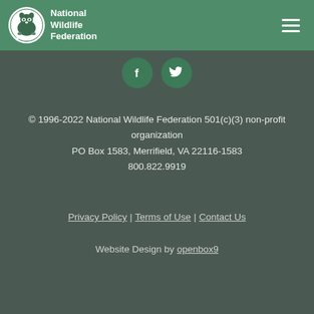National Wildlife Federation
[Figure (logo): National Wildlife Federation circular logo with raccoon illustration and text: National Wildlife Federation]
[Figure (infographic): Facebook and Twitter social media circular icon buttons in teal/green color]
© 1996-2022 National Wildlife Federation 501(c)(3) non-profit organization
PO Box 1583, Merrifield, VA 22116-1583
800.822.9919
Privacy Policy | Terms of Use | Contact Us
Website Design by openbox9